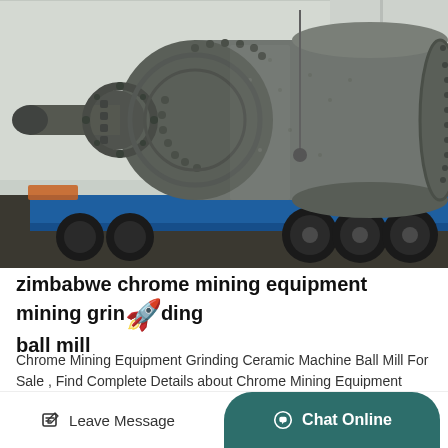[Figure (photo): A large industrial ball mill (cylindrical grinding machine) mounted on a flatbed truck trailer with large tires. The machine is dark grey, cylindrical with bolted flanges and has a feed chute on the left side. The trailer is blue and the background shows a factory/warehouse building.]
zimbabwe chrome mining equipment mining grinding ball mill
Chrome Mining Equipment Grinding Ceramic Machine Ball Mill For Sale , Find Complete Details about Chrome Mining Equipment